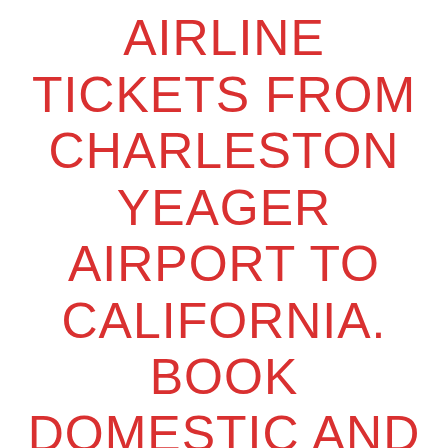AIRLINE TICKETS FROM CHARLESTON YEAGER AIRPORT TO CALIFORNIA. BOOK DOMESTIC AND INTERNATIONAL FLIGHT TICKETS FIND THE LATEST